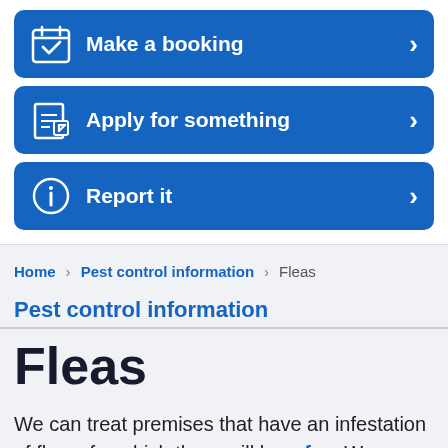[Figure (other): Navigation button: Make a booking with calendar icon and right arrow]
[Figure (other): Navigation button: Apply for something with form/pen icon and right arrow]
[Figure (other): Navigation button: Report it with exclamation circle icon and right arrow]
Home > Pest control information > Fleas
Pest control information
Fleas
We can treat premises that have an infestation of fleas, for which there will be a fee. We cannot treat any animals directly and if necessary you will need to take advice from your vet.